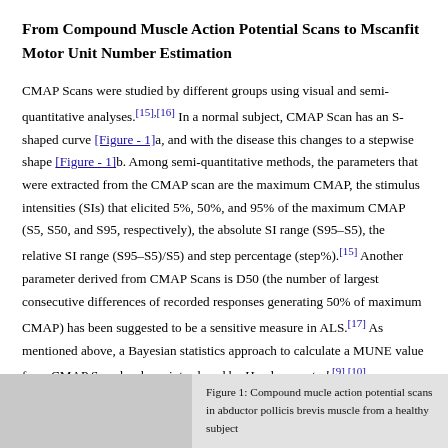From Compound Muscle Action Potential Scans to Mscanfit Motor Unit Number Estimation
CMAP Scans were studied by different groups using visual and semi-quantitative analyses.[15],[16] In a normal subject, CMAP Scan has an S-shaped curve [Figure - 1]a, and with the disease this changes to a stepwise shape [Figure - 1]b. Among semi-quantitative methods, the parameters that were extracted from the CMAP scan are the maximum CMAP, the stimulus intensities (SIs) that elicited 5%, 50%, and 95% of the maximum CMAP (S5, S50, and S95, respectively), the absolute SI range (S95–S5), the relative SI range (S95–S5)/S5) and step percentage (step%).[15] Another parameter derived from CMAP Scans is D50 (the number of largest consecutive differences of recorded responses generating 50% of maximum CMAP) has been suggested to be a sensitive measure in ALS.[17] As mentioned above, a Bayesian statistics approach to calculate a MUNE value from CMAP Scan has been introduced by Henderson et al.[9],[10]
Figure 1: Compound mucle action potential scans in abductor pollicis brevis muscle from a healthy subject